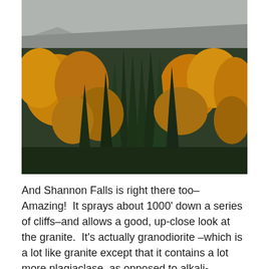[Figure (photo): Photograph of autumn forest with mixed deciduous and evergreen trees showing orange and golden fall foliage, with grey granite rock cliffs visible in the upper portion of the image.]
And Shannon Falls is right there too–Amazing!  It sprays about 1000' down a series of cliffs–and allows a good, up-close look at the granite.  It's actually granodiorite –which is a lot like granite except that it contains a lot more plagiaclase, as opposed to alkali-feldspar.